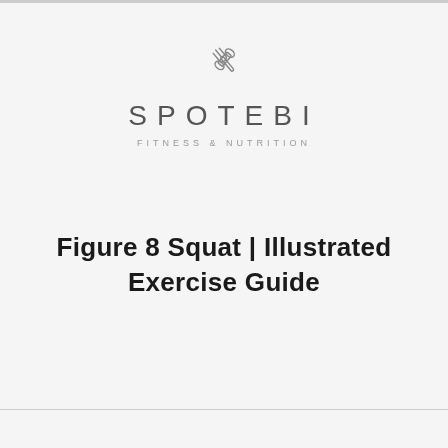[Figure (logo): Spotebi Fitness & Nutrition logo with crossed fork and dumbbell icon above the brand name]
Figure 8 Squat | Illustrated Exercise Guide